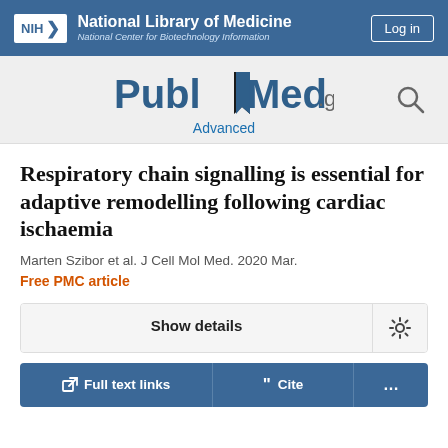NIH National Library of Medicine National Center for Biotechnology Information
[Figure (logo): PubMed.gov logo with Advanced search link]
Respiratory chain signalling is essential for adaptive remodelling following cardiac ischaemia
Marten Szibor et al. J Cell Mol Med. 2020 Mar.
Free PMC article
Show details
Full text links
Cite